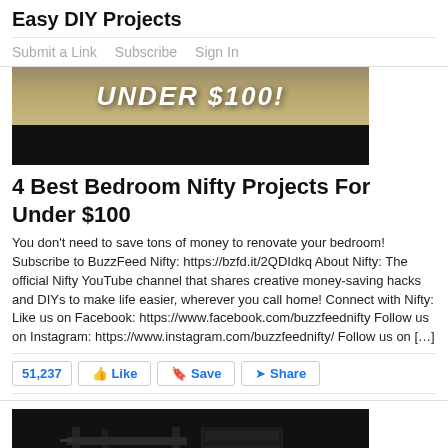Easy DIY Projects
Submit a Link   Subscribe   Sign In
[Figure (photo): Image showing text 'UNDER $100!' on a tan/cream background, with a black bar below]
4 Best Bedroom Nifty Projects For Under $100
You don't need to save tons of money to renovate your bedroom! Subscribe to BuzzFeed Nifty: https://bzfd.it/2QDIdkq About Nifty: The official Nifty YouTube channel that shares creative money-saving hacks and DIYs to make life easier, wherever you call home! Connect with Nifty: Like us on Facebook: https://www.facebook.com/buzzfeednifty Follow us on Instagram: https://www.instagram.com/buzzfeednifty/ Follow us on […]
51,237  Like  Save  Share
[Figure (photo): Dark/black image showing a person near a large dark loft bed structure]